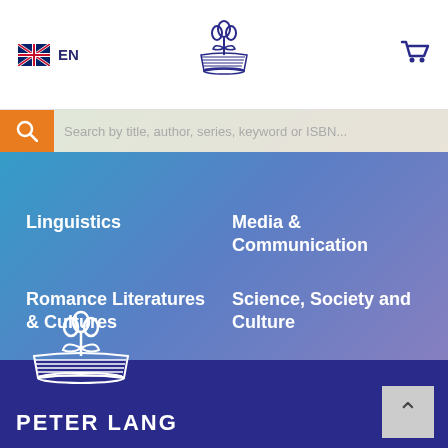EN
[Figure (logo): Peter Lang publisher logo in dark blue at top center of navigation bar]
[Figure (logo): Shopping cart icon at top right of navigation bar]
Search by title, author, series, keyword or ISBN...
Linguistics
Media & Communication
Romance Literatures & Cultures
Science, Society and Culture
Slavic Studies
Theology & Philosophy
[Figure (logo): Peter Lang publisher logo in white on dark blue footer background]
PETER LANG